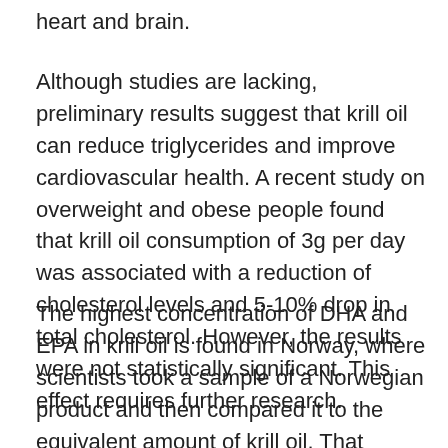heart and brain.
Although studies are lacking, preliminary results suggest that krill oil can reduce triglycerides and improve cardiovascular health. A recent study on overweight and obese people found that krill oil consumption of 3g per day was associated with a reduction of cholesterol levels and 5-10% drop in total cholesterol. However, the results were not statistically significant. This effect requires further research.
The highest concentration of DHA and EPA in krill oil is found in Norway, where scientists took a sample of a Norwegian product and then compared it to the equivalent amount of krill oil. That sample contained 600 mg of fish oil, 288 mg of EPA + DHA, and 220 mg of omega-3.